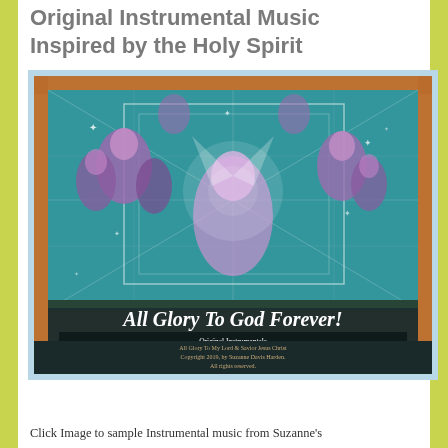Original Instrumental Music Inspired by the Holy Spirit
[Figure (illustration): Album cover art for 'All Glory To God Forever!' showing religious figures and imagery with teal and purple tones. Text reads: 'All Glory To God Forever! Original Instrumentals Celebrating the 25th Album of Holy Spirit Inspired Music Since 2013 by Suzanne Davis Harden to God's People for His Glory & Honor'. Small text: 'All Glory To My Lord & Savior Jesus Christ Copyright 2019, by Suzanne Davis Harden. All rights reserved.']
Click Image to sample Instrumental music from Suzanne's